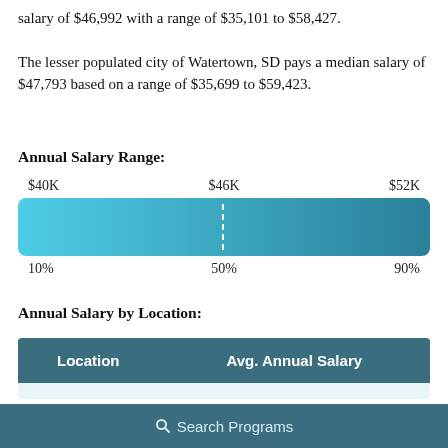salary of $46,992 with a range of $35,101 to $58,427.
The lesser populated city of Watertown, SD pays a median salary of $47,793 based on a range of $35,699 to $59,423.
Annual Salary Range:
[Figure (infographic): Horizontal salary range bar showing gradient from light blue (left) to dark teal (right), with a dashed white vertical line at the 50% median mark. Labels above: $40K, $46K, $52K. Labels below: 10%, 50%, 90%.]
Annual Salary by Location:
| Location | Avg. Annual Salary |
| --- | --- |
Search Programs